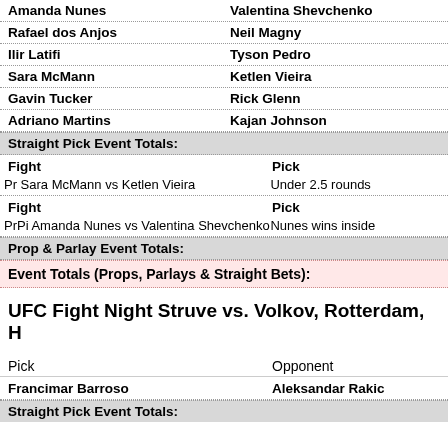Amanda Nunes | Valentina Shevchenko
Rafael dos Anjos | Neil Magny
Ilir Latifi | Tyson Pedro
Sara McMann | Ketlen Vieira
Gavin Tucker | Rick Glenn
Adriano Martins | Kajan Johnson
Straight Pick Event Totals:
| Fight | Pick |
| --- | --- |
| Pr Sara McMann vs Ketlen Vieira | Under 2.5 rounds |
| Fight | Pick |
| --- | --- |
| PrPi Amanda Nunes vs Valentina Shevchenko | Nunes wins inside |
Prop & Parlay Event Totals:
Event Totals (Props, Parlays & Straight Bets):
UFC Fight Night Struve vs. Volkov, Rotterdam, H
| Pick | Opponent |
| --- | --- |
| Francimar Barroso | Aleksandar Rakic |
Straight Pick Event Totals: